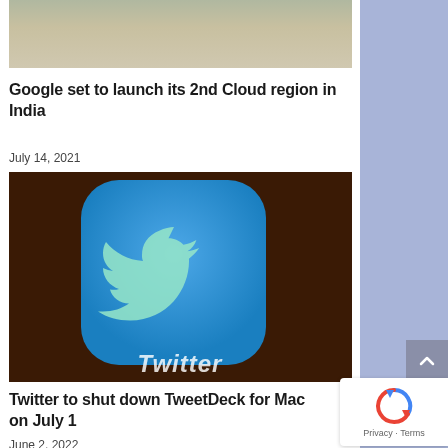[Figure (photo): Partial street scene photo at the top, partially visible]
Google set to launch its 2nd Cloud region in India
July 14, 2021
[Figure (photo): Close-up photo of a smartphone screen showing the Twitter app icon on a dark brown background, with the word 'Twitter' visible at the bottom]
Twitter to shut down TweetDeck for Mac on July 1
June 2, 2022